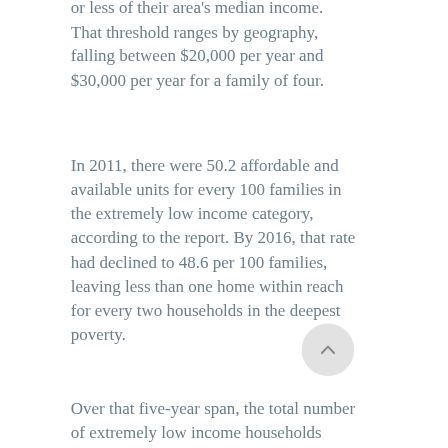or less of their area's median income. That threshold ranges by geography, falling between $20,000 per year and $30,000 per year for a family of four.
In 2011, there were 50.2 affordable and available units for every 100 families in the extremely low income category, according to the report. By 2016, that rate had declined to 48.6 per 100 families, leaving less than one home within reach for every two households in the deepest poverty.
Over that five-year span, the total number of extremely low income households increased, but the number of rental homes and apartments considered available and affordable for them decreased, growing the